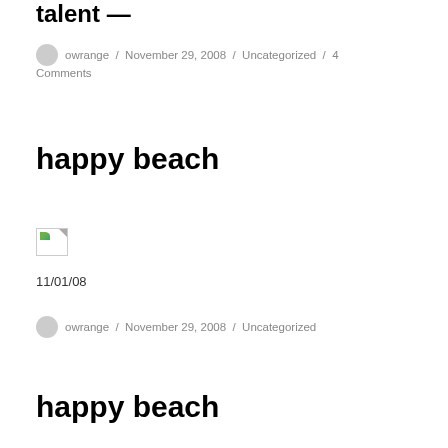talent —
owrange / November 29, 2008 / Uncategorized / 4 Comments
happy beach
[Figure (photo): Broken image placeholder with small green triangle in top-left corner]
11/01/08
owrange / November 29, 2008 / Uncategorized
happy beach